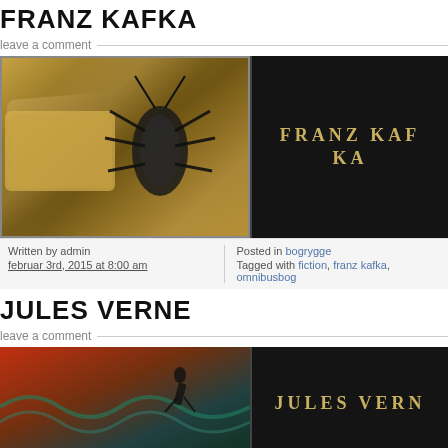FRANZ KAFKA
leave a comment
[Figure (photo): Book cover for Franz Kafka showing an artistic illustration of an insect/bug on the left side and 'FRANZ KAFKA' text in gold letters on dark background on the right side]
Written by admin
februar 3rd, 2015 at 8:00 am
Posted in bogrygge
Tagged with fiction, franz kafka, omnibusbog
JULES VERNE
leave a comment
[Figure (photo): Book cover for Jules Verne showing a dramatic scene with a diver/figure against colorful background on the left and 'JULES VERNE' text in gold on dark background on the right]